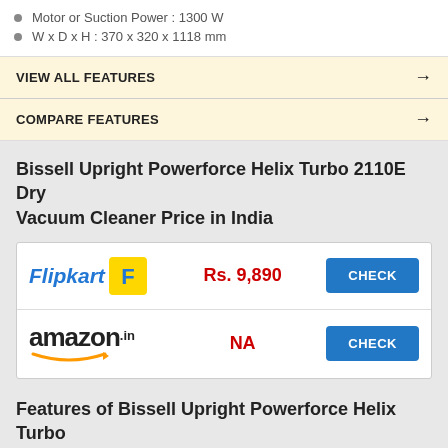Motor or Suction Power : 1300 W
W x D x H : 370 x 320 x 1118 mm
VIEW ALL FEATURES →
COMPARE FEATURES →
Bissell Upright Powerforce Helix Turbo 2110E Dry Vacuum Cleaner Price in India
| Store | Price | Action |
| --- | --- | --- |
| Flipkart | Rs. 9,890 | CHECK |
| Amazon.in | NA | CHECK |
Features of Bissell Upright Powerforce Helix Turbo 2110E Dry Vacuum Cleaner